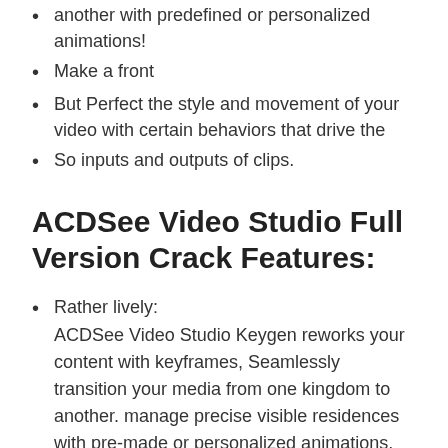another with predefined or personalized animations!
Make a front
But Perfect the style and movement of your video with certain behaviors that drive the
So inputs and outputs of clips.
ACDSee Video Studio Full Version Crack Features:
Rather lively:
ACDSee Video Studio Keygen reworks your content with keyframes, Seamlessly transition your media from one kingdom to another. manage precise visible residences with pre-made or personalized animations, and still overlay additional photos or videos to finish your narration.